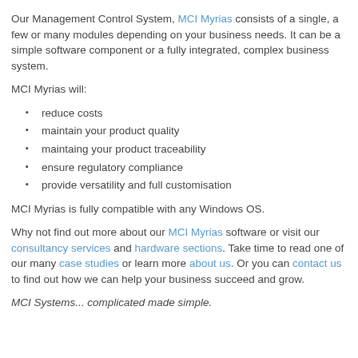Our Management Control System, MCI Myrias consists of a single, a few or many modules depending on your business needs. It can be a simple software component or a fully integrated, complex business system.
MCI Myrias will:
reduce costs
maintain your product quality
maintaing your product traceability
ensure regulatory compliance
provide versatility and full customisation
MCI Myrias is fully compatible with any Windows OS.
Why not find out more about our MCI Myrias software or visit our consultancy services and hardware sections. Take time to read one of our many case studies or learn more about us. Or you can contact us to find out how we can help your business succeed and grow.
MCI Systems... complicated made simple.